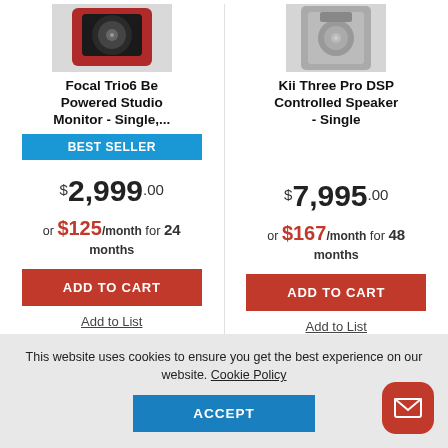[Figure (photo): Focal Trio6 Be studio monitor speaker (red/black) - top portion cropped]
[Figure (photo): Kii Three Pro DSP Controlled Speaker (silver/grey) - top portion cropped]
Focal Trio6 Be Powered Studio Monitor - Single,...
Kii Three Pro DSP Controlled Speaker - Single
BEST SELLER
$2,999.00
$7,995.00
or $125/month for 24 months
or $167/month for 48 months
ADD TO CART
ADD TO CART
Add to List
Add to List
This website uses cookies to ensure you get the best experience on our website. Cookie Policy
ACCEPT